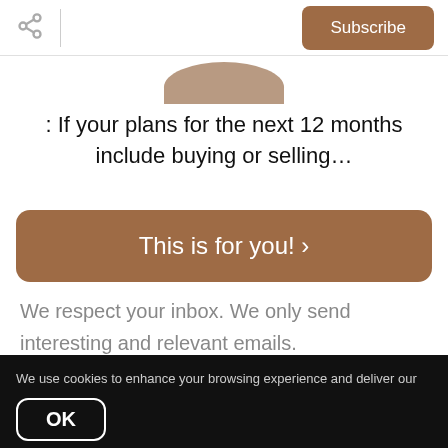Subscribe
[Figure (photo): Partial circular image of a person, cropped at bottom of top area]
: If your plans for the next 12 months include buying or selling…
This is for you! >
We respect your inbox. We only send interesting and relevant emails.
We use cookies to enhance your browsing experience and deliver our services. By continuing to visit this site, you agree to our use of cookies. More Info
OK